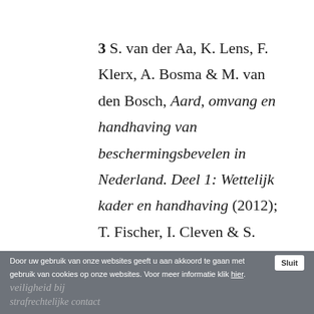3 S. van der Aa, K. Lens, F. Klerx, A. Bosma & M. van den Bosch, Aard, omvang en handhaving van beschermingsbevelen in Nederland. Deel 1: Wettelijk kader en handhaving (2012); T. Fischer, I. Cleven & S. Struijk, Handhaving en veiligheid bij strafrechtelijke contact
Door uw gebruik van onze websites geeft u aan akkoord te gaan met gebruik van cookies op onze websites. Voor meer informatie klik hier. Sluit